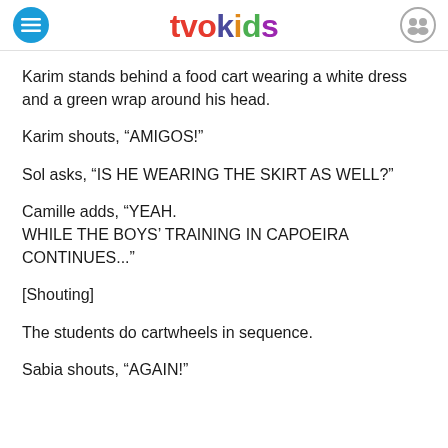tvokids
Karim stands behind a food cart wearing a white dress and a green wrap around his head.
Karim shouts, “AMIGOS!”
Sol asks, “IS HE WEARING THE SKIRT AS WELL?”
Camille adds, “YEAH. WHILE THE BOYS’ TRAINING IN CAPOEIRA CONTINUES...”
[Shouting]
The students do cartwheels in sequence.
Sabia shouts, “AGAIN!”